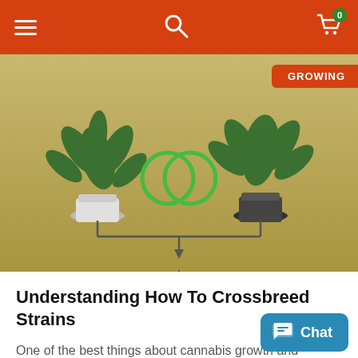Navigation bar with menu, search, and cart (0 items)
[Figure (illustration): Illustration showing two cannabis plants in pots connected by lines to a crossbred cannabis plant below, representing crossbreeding strains. A 'GROWING' badge is visible in the top right corner.]
Understanding How To Crossbreed Strains
One of the best things about cannabis growth and cultivation is the ability to crossbreed plants. However, if you're new
READ MORE »